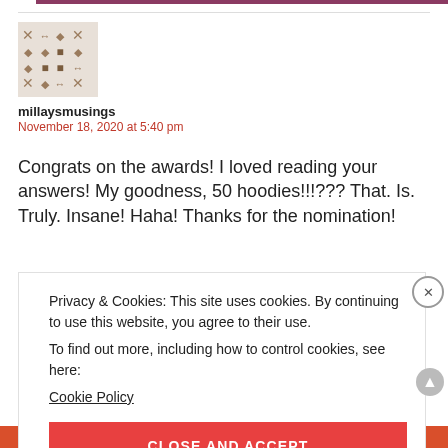[Figure (illustration): User avatar: a decorative pattern of X, diamond, and square symbols in brownish-grey on a light background, forming a grid-like motif.]
millaysmusings
November 18, 2020 at 5:40 pm
Congrats on the awards! I loved reading your answers! My goodness, 50 hoodies!!!??? That. Is. Truly. Insane! Haha! Thanks for the nomination!
Privacy & Cookies: This site uses cookies. By continuing to use this website, you agree to their use.
To find out more, including how to control cookies, see here:
Cookie Policy
CLOSE AND ACCEPT